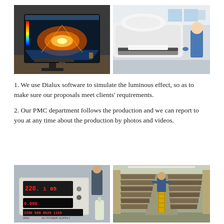[Figure (photo): Computer monitor showing Dialux 3D lighting simulation software with colorful luminous effect visualization on screen, keyboard and desk visible]
[Figure (photo): Industrial production facility with large white equipment/conveyor line and workers in blue uniforms processing materials in a bright factory floor]
1. We use Dialux software to simulate the luminous effect, so as to make sure our proposals meet clients' requirements.
2. Our PMC department follows the production and we can report to you at any time about the production by photos and videos.
[Figure (photo): AC Power Supply testing equipment with digital display showing readings 220.1, 05, 0.986 and lower display 2206, 500, 0529, 1150, with a small bottle visible]
[Figure (photo): Large warehouse storage facility with long rows of shelving filled with rolls/spools of material, a worker in blue uniform standing on a yellow ladder in the middle aisle]